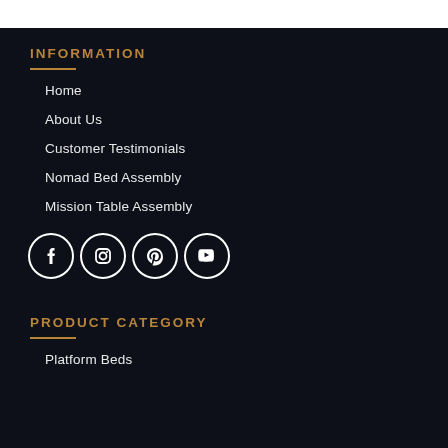INFORMATION
Home
About Us
Customer Testimonials
Nomad Bed Assembly
Mission Table Assembly
[Figure (infographic): Social media icons: Facebook, Instagram, Pinterest, YouTube — white circles with icons]
PRODUCT CATEGORY
Platform Beds